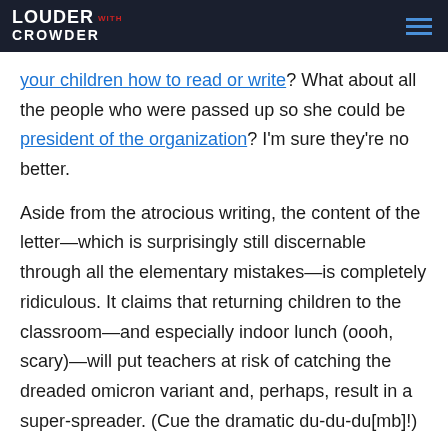LOUDER WITH CROWDER
your children how to read or write? What about all the people who were passed up so she could be president of the organization? I'm sure they're no better.
Aside from the atrocious writing, the content of the letter—which is surprisingly still discernable through all the elementary mistakes—is completely ridiculous. It claims that returning children to the classroom—and especially indoor lunch (oooh, scary)—will put teachers at risk of catching the dreaded omicron variant and, perhaps, result in a super-spreader. (Cue the dramatic du-du-du[mb]!)